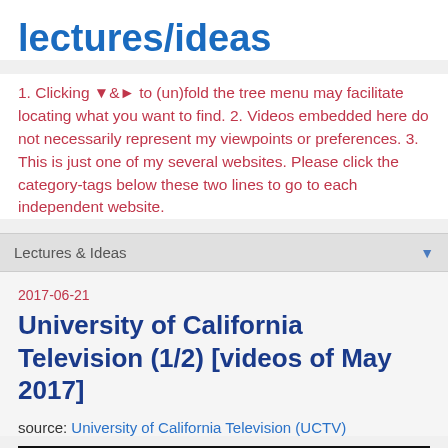lectures/ideas
1. Clicking ▼&► to (un)fold the tree menu may facilitate locating what you want to find. 2. Videos embedded here do not necessarily represent my viewpoints or preferences. 3. This is just one of my several websites. Please click the category-tags below these two lines to go to each independent website.
Lectures & Ideas ▼
2017-06-21
University of California Television (1/2) [videos of May 2017]
source: University of California Television (UCTV)
[Figure (screenshot): Video thumbnail showing a black bar on top and a greenish background image below]